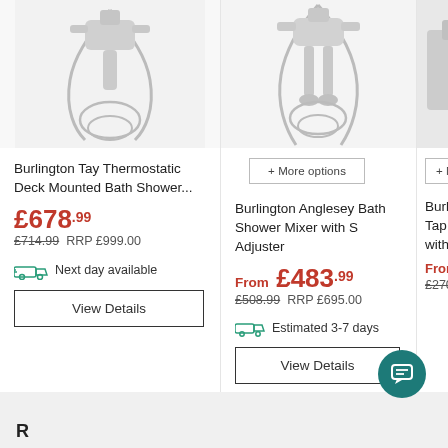[Figure (photo): Burlington Tay bath shower mixer product image, chrome finish]
Burlington Tay Thermostatic Deck Mounted Bath Shower...
£678.99
£714.99  RRP £999.00
Next day available
View Details
[Figure (photo): Burlington Anglesey Bath Shower Mixer product image, chrome finish]
+ More options
Burlington Anglesey Bath Shower Mixer with S Adjuster
From £483.99
£508.99  RRP £695.00
Estimated 3-7 days
View Details
[Figure (photo): Partial view of third Burlington product, cropped]
+ M
Burli... Tap H... with...
From
£270...
R